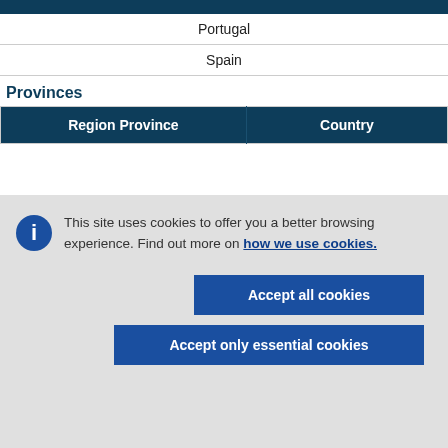| Region Province | Country |
| --- | --- |
| Portugal |  |
| Spain |  |
Provinces
| Region Province | Country |
| --- | --- |
This site uses cookies to offer you a better browsing experience. Find out more on how we use cookies.
Accept all cookies
Accept only essential cookies